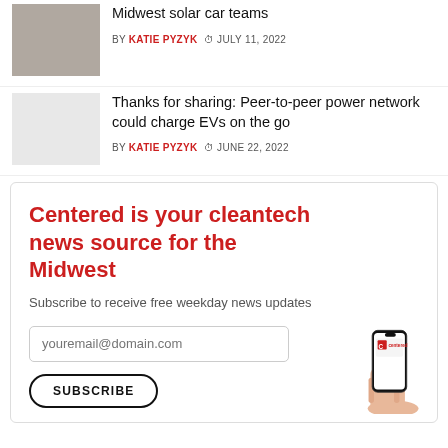[Image] Midwest solar car teams — BY KATIE PYZYK  JULY 11, 2022
Thanks for sharing: Peer-to-peer power network could charge EVs on the go — BY KATIE PYZYK  JUNE 22, 2022
Centered is your cleantech news source for the Midwest
Subscribe to receive free weekday news updates
youremail@domain.com
SUBSCRIBE
[Figure (illustration): Hand holding a smartphone displaying the Centered app logo]